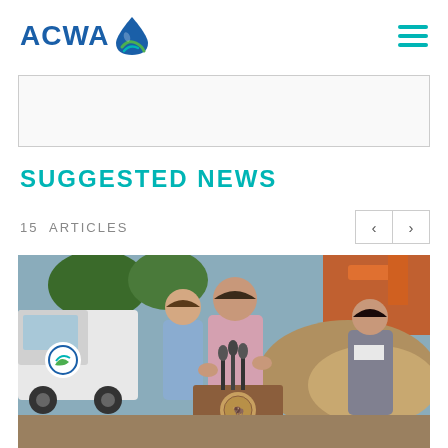ACWA
15 ARTICLES
SUGGESTED NEWS
[Figure (photo): A man in a pink shirt speaks at a podium with a buffalo seal emblem, flanked by two other people, at an outdoor construction site. A white truck with a water district logo is visible on the left.]